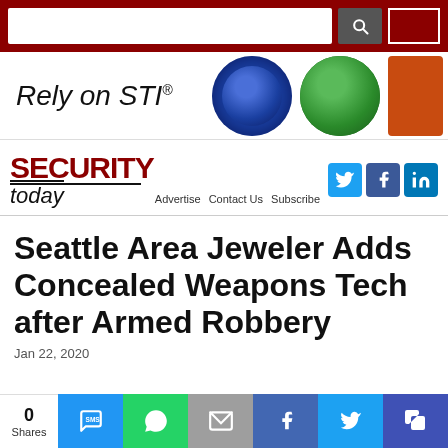[Figure (screenshot): Website header with dark red search bar containing a search input field and magnifying glass icon button, with a small red bordered box on the right.]
[Figure (photo): Advertisement banner reading 'Rely on STI®' with images of blue, green, and orange strobe/alarm lights on the right side.]
SECURITY today — Advertise  Contact Us  Subscribe
Seattle Area Jeweler Adds Concealed Weapons Tech after Armed Robbery
0 Shares
[Figure (screenshot): Social share bar at bottom with SMS, WhatsApp, email, Facebook, Twitter, and bookmark icons in colored tiles.]